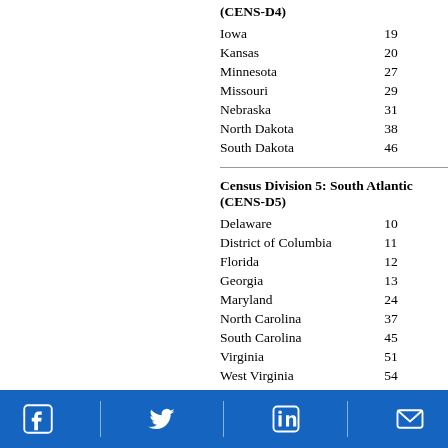(CENS-D4)
| State | Code |
| --- | --- |
| Iowa | 19 |
| Kansas | 20 |
| Minnesota | 27 |
| Missouri | 29 |
| Nebraska | 31 |
| North Dakota | 38 |
| South Dakota | 46 |
Census Division 5: South Atlantic (CENS-D5)
| State | Code |
| --- | --- |
| Delaware | 10 |
| District of Columbia | 11 |
| Florida | 12 |
| Georgia | 13 |
| Maryland | 24 |
| North Carolina | 37 |
| South Carolina | 45 |
| Virginia | 51 |
| West Virginia | 54 |
Census Division 6: East South Central (CENS-D6)
| State | Code |
| --- | --- |
| Alabama | 01 |
Social media icons: Facebook, Twitter, LinkedIn, Email